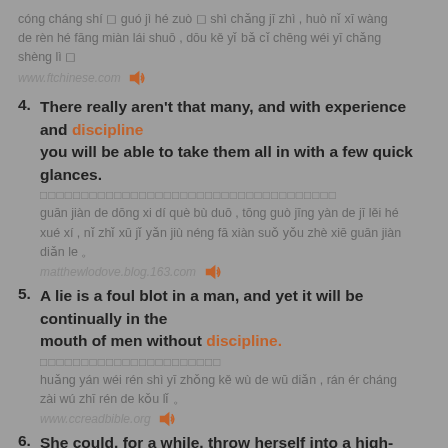cóng cháng shí guó jì hé zuò shì chǎng jī zhì , huò nǐ xī wàng de rèn hé fāng miàn lái shuō , dōu kě yǐ bǎ cǐ chēng wéi yī chǎng shèng lì 。
www.ftchinese.com
4. There really aren't that many, and with experience and discipline you will be able to take them all in with a few quick glances.
□□□□□□□□□□□□□□□□□□□□□□□□□□□□□□□□□□□□
guān jiàn de dōng xi dí què bù duō , tōng guò jīng yàn de jī lěi hé xué xí , nǐ zhǐ xū jǐ yǎn jiù néng fā xiàn suǒ yǒu zhè xiē guān jiàn diǎn le 。
matthewlodove.blog.163.com
5. A lie is a foul blot in a man, and yet it will be continually in the mouth of men without discipline.
□□□□□□□□□□□□□□□□□□□□□□
huǎng yán wéi rén shì yī zhǒng kě wù de wū diǎn , rán ér cháng zài wú zhī rén de kǒu lǐ 。
www.ccreadbible.org
6. She could, for a while, throw herself into a high-minded endeavor,